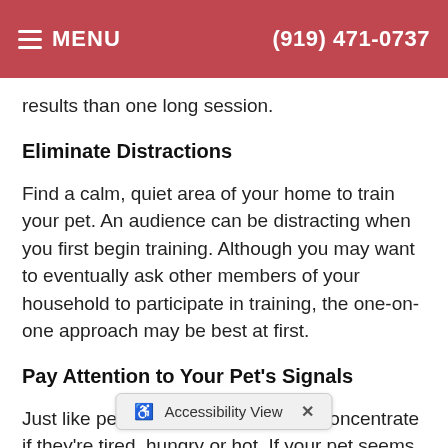MENU   (919) 471-0737
results than one long session.
Eliminate Distractions
Find a calm, quiet area of your home to train your pet. An audience can be distracting when you first begin training. Although you may want to eventually ask other members of your household to participate in training, the one-on-one approach may be best at first.
Pay Attention to Your Pet's Signals
Just like people, pets find it hard to concentrate if they're tired, hungry or hot. If your pet seems lethargic or loses interest in training, postpone the